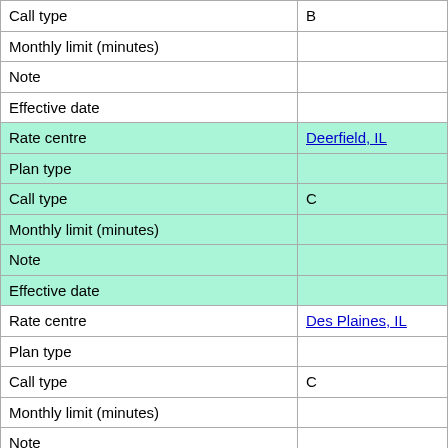| Call type | B |
| Monthly limit (minutes) |  |
| Note |  |
| Effective date |  |
| Rate centre | Deerfield, IL |
| Plan type |  |
| Call type | C |
| Monthly limit (minutes) |  |
| Note |  |
| Effective date |  |
| Rate centre | Des Plaines, IL |
| Plan type |  |
| Call type | C |
| Monthly limit (minutes) |  |
| Note |  |
| Effective date |  |
| Rate centre | Downers Grove, IL |
| Plan type |  |
| Call type | C |
| Monthly limit (minutes) |  |
| Note |  |